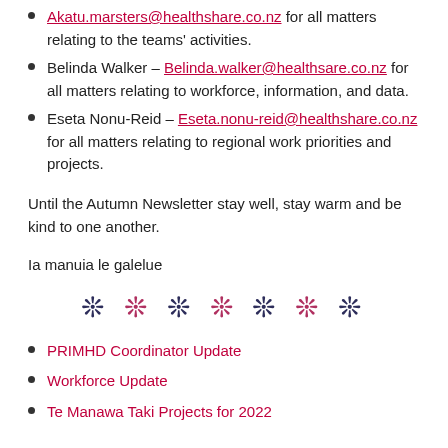Akatu.marsters@healthshare.co.nz for all matters relating to the teams' activities.
Belinda Walker – Belinda.walker@healthsare.co.nz for all matters relating to workforce, information, and data.
Eseta Nonu-Reid – Eseta.nonu-reid@healthshare.co.nz for all matters relating to regional work priorities and projects.
Until the Autumn Newsletter stay well, stay warm and be kind to one another.
Ia manuia le galelue
[Figure (illustration): Seven decorative flower/snowflake symbols alternating between dark navy and crimson/red colors]
PRIMHD Coordinator Update
Workforce Update
Te Manawa Taki Projects for 2022